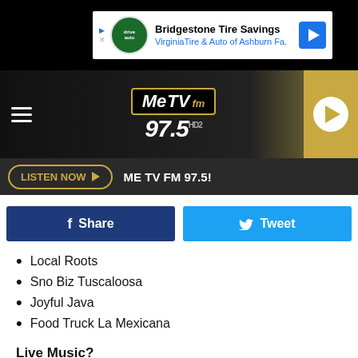[Figure (screenshot): Bridgestone Tire Savings ad banner with Virginia Tire & Auto of Ashburn Fa. text]
[Figure (logo): MeTV fm 97.5 HD2 radio station logo with navigation header and play button]
[Figure (screenshot): LISTEN NOW button with ME TV FM 97.5! text in dark bar]
[Figure (screenshot): Facebook Share and Twitter Tweet buttons]
Local Roots
Sno Biz Tuscaloosa
Joyful Java
Food Truck La Mexicana
Live Music?
This year's festival kicks off with two rocking rounds of live music Friday night, and comes back swinging Saturday with a whole
[Figure (screenshot): Save Big on Bridgestone Tires - Virginia Tire & Auto of Ashburn Farms ad]
and more: